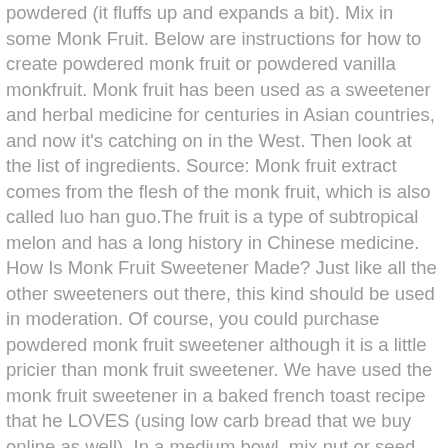powdered (it fluffs up and expands a bit). Mix in some Monk Fruit. Below are instructions for how to create powdered monk fruit or powdered vanilla monkfruit. Monk fruit has been used as a sweetener and herbal medicine for centuries in Asian countries, and now it's catching on in the West. Then look at the list of ingredients. Source: Monk fruit extract comes from the flesh of the monk fruit, which is also called luo han guo.The fruit is a type of subtropical melon and has a long history in Chinese medicine. How Is Monk Fruit Sweetener Made? Just like all the other sweeteners out there, this kind should be used in moderation. Of course, you could purchase powdered monk fruit sweetener although it is a little pricier than monk fruit sweetener. We have used the monk fruit sweetener in a baked french toast recipe that he LOVES (using low carb bread that we buy online as well). In a medium bowl, mix nut or seed butter (I used almond butter), 1 tsp of cinnamon, coconut flour, nut milk, 1/4 cup of Lakanto Monkfruit Golden Sweetener,* vanilla, and mineral salt together. Instead of adding juice to